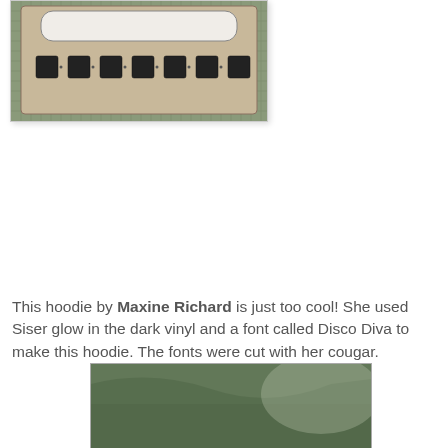[Figure (photo): Photo of a craft cutting machine panel/display with black square buttons on a beige/white panel, set on a grid cutting mat]
This hoodie by Maxine Richard is just too cool! She used Siser glow in the dark vinyl and a font called Disco Diva to make this hoodie. The fonts were cut with her cougar.
[Figure (photo): Photo of a dark green hoodie with vinyl lettering applied, partially visible]